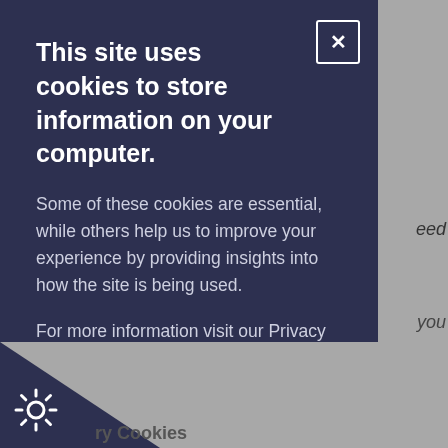This site uses cookies to store information on your computer.
Some of these cookies are essential, while others help us to improve your experience by providing insights into how the site is being used.
For more information visit our Privacy Statement
[Figure (other): External link icon (square with arrow pointing out)]
I Accept Cookies
I Do Not Accept Cookies
[Figure (logo): Cookie consent cog wheel icon at bottom left]
ry Cookies